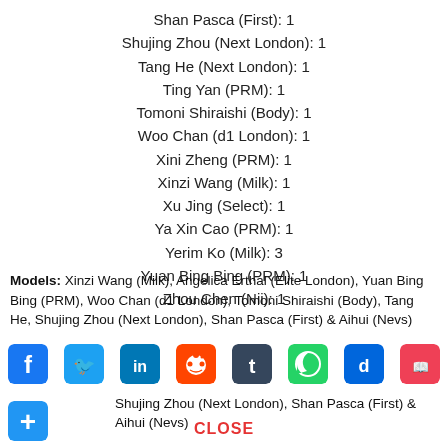Shan Pasca (First): 1
Shujing Zhou (Next London): 1
Tang He (Next London): 1
Ting Yan (PRM): 1
Tomoni Shiraishi (Body): 1
Woo Chan (d1 London): 1
Xini Zheng (PRM): 1
Xinzi Wang (Milk): 1
Xu Jing (Select): 1
Ya Xin Cao (PRM): 1
Yerim Ko (Milk): 3
Yuan Bing Bing (PRM): 1
Zhou Chen (Nii): 1
Models: Xinzi Wang (Milk), Angelica Erthal (Elite London), Yuan Bing Bing (PRM), Woo Chan (d1 London), Tomoni Shiraishi (Body), Tang He, Shujing Zhou (Next London), Shan Pasca (First) & Aihui (Nevs)